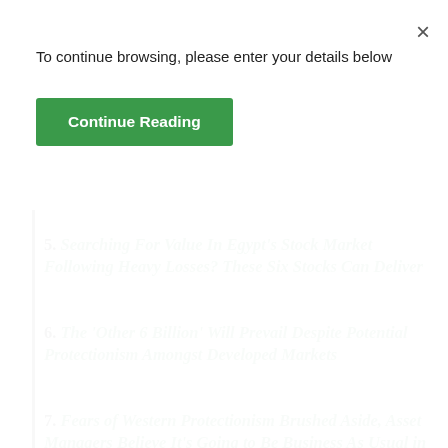To continue browsing, please enter your details below
Continue Reading
5. Searching For Value In Egypt's Stock Market Following Heavy Losses? These Six Stocks Can Deliver
6. The 'Other 6 Billion' Will Prevail Despite Potential Protectionism Amongst Developed Markets
7. Fears of Western Protectionism Brushed Aside, Asset Managers Believe It's Going to Be Business As Usual in Vietnam
8. Avoiding the Noise around Sustainable